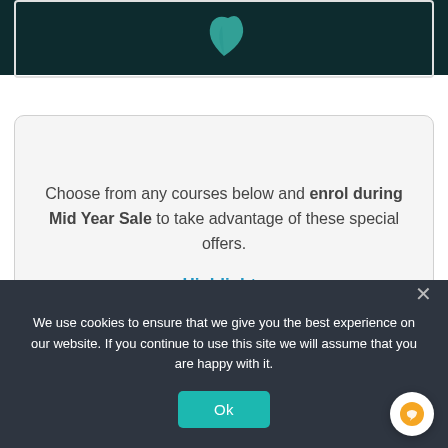[Figure (illustration): Dark teal background image with a teal bird/leaf icon visible at top]
Choose from any courses below and enrol during Mid Year Sale to take advantage of these special offers.
Highlights
We use cookies to ensure that we give you the best experience on our website. If you continue to use this site we will assume that you are happy with it.